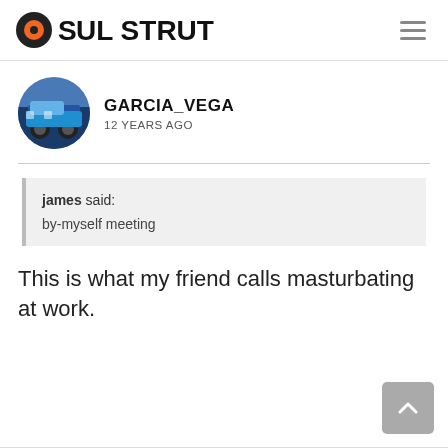SOUL STRUT
[Figure (logo): Soul Strut logo with vinyl record icon and text SOUL STRUT]
GARCIA_VEGA
12 YEARS AGO
james said:
by-myself meeting
This is what my friend calls masturbating at work.